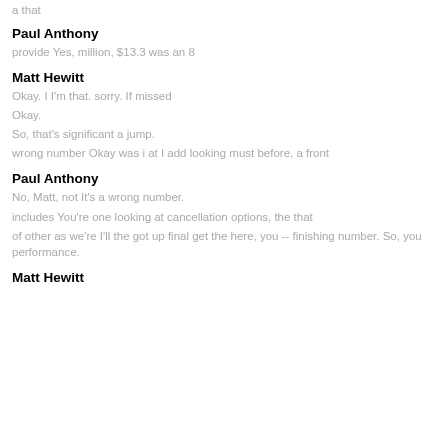a that
Paul Anthony
provide Yes, million, $13.3 was an 8
Matt Hewitt
Okay. I I'm that. sorry. If missed
Okay.
So, that's significant a jump.
wrong number Okay was i at I add looking must before, a front
Paul Anthony
No, Matt, not It's a wrong number.
includes You're one looking at cancellation options, the that
of other as we're I'll the got up final get the here, you -- finishing number. So, you performance.
Matt Hewitt